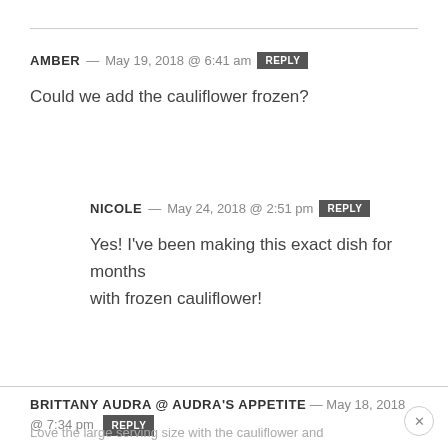AMBER — May 19, 2018 @ 6:41 am [REPLY]
Could we add the cauliflower frozen?
NICOLE — May 24, 2018 @ 2:51 pm [REPLY]
Yes! I've been making this exact dish for months with frozen cauliflower!
BRITTANY AUDRA @ AUDRA'S APPETITE — May 18, 2018 @ 7:34 pm [REPLY]
Love the large serving size with the cauliflower and